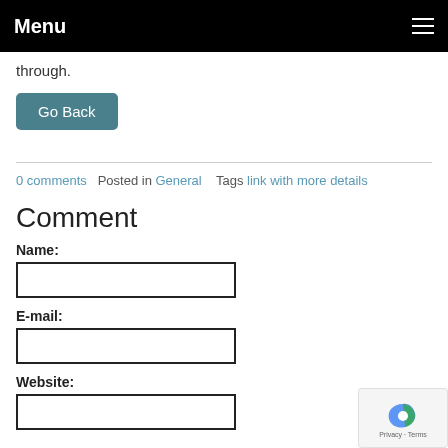Menu
through.
Go Back
0 comments   Posted in General   Tags link with more details
Comment
Name:
E-mail:
Website: